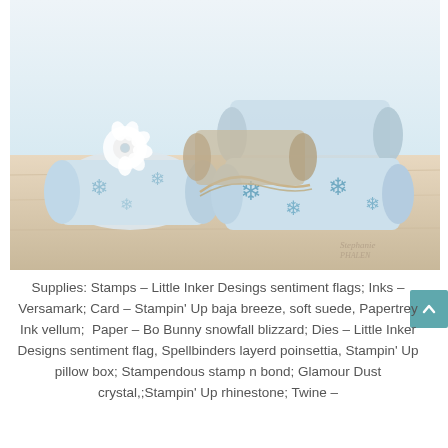[Figure (photo): Photo of decorative snowflake-patterned pillow boxes in blue and white with white poinsettia flower embellishment and twine, arranged on a light wood surface. Watermark visible in bottom right corner.]
Supplies: Stamps – Little Inker Desings sentiment flags; Inks – Versamark; Card – Stampin' Up baja breeze, soft suede, Papertrey Ink vellum;  Paper – Bo Bunny snowfall blizzard; Dies – Little Inker Designs sentiment flag, Spellbinders layerd poinsettia, Stampin' Up pillow box; Stampendous stamp n bond; Glamour Dust crystal,;Stampin' Up rhinestone; Twine – The Twinery Stitch and little...